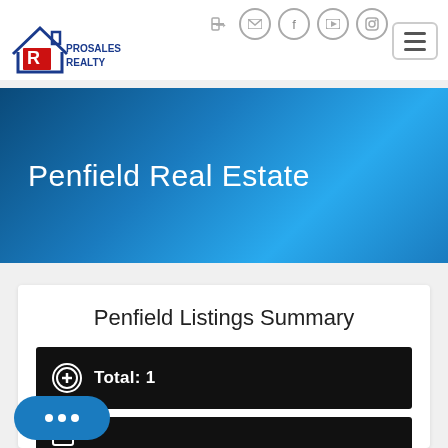[Figure (logo): ProSales Realty logo with house outline and letter R in red, company name in blue text]
[Figure (infographic): Social media and navigation icons in top right: login arrow, mail, Facebook, YouTube, Instagram circles, and hamburger menu button]
Penfield Real Estate
Penfield Listings Summary
Total: 1